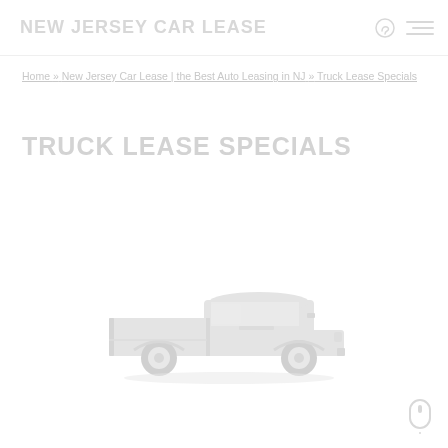NEW JERSEY CAR LEASE
Home » New Jersey Car Lease | the Best Auto Leasing in NJ » Truck Lease Specials
TRUCK LEASE SPECIALS
[Figure (illustration): Light gray pickup truck illustration, side profile view, very faint/watermark style]